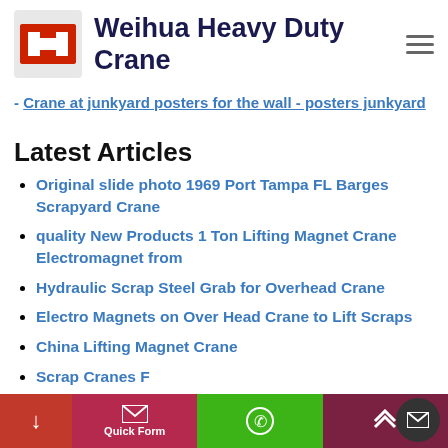Weihua Heavy Duty Crane
Crane at junkyard posters for the wall - posters junkyard
Latest Articles
Original slide photo 1969 Port Tampa FL Barges Scrapyard Crane
quality New Products 1 Ton Lifting Magnet Crane Electromagnet from
Hydraulic Scrap Steel Grab for Overhead Crane
Electro Magnets on Over Head Crane to Lift Scraps
China Lifting Magnet Crane
Scrap Cranes F
Quick Form